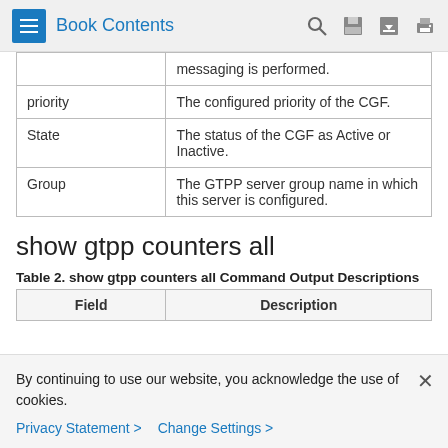Book Contents
|  |  |
| --- | --- |
|  | messaging is performed. |
| priority | The configured priority of the CGF. |
| State | The status of the CGF as Active or Inactive. |
| Group | The GTPP server group name in which this server is configured. |
show gtpp counters all
Table 2. show gtpp counters all Command Output Descriptions
| Field | Description |
| --- | --- |